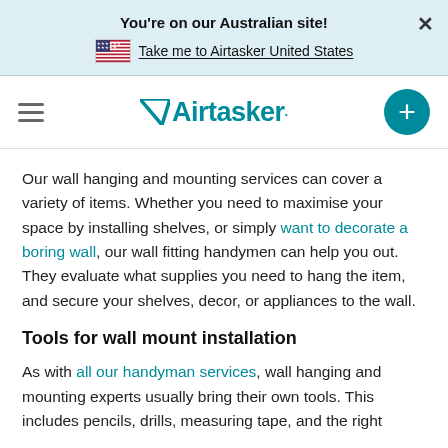You're on our Australian site!
Take me to Airtasker United States
[Figure (logo): Airtasker logo with hamburger menu and plus button navigation bar]
Our wall hanging and mounting services can cover a variety of items. Whether you need to maximise your space by installing shelves, or simply want to decorate a boring wall, our wall fitting handymen can help you out. They evaluate what supplies you need to hang the item, and secure your shelves, decor, or appliances to the wall.
Tools for wall mount installation
As with all our handyman services, wall hanging and mounting experts usually bring their own tools. This includes pencils, drills, measuring tape, and the right